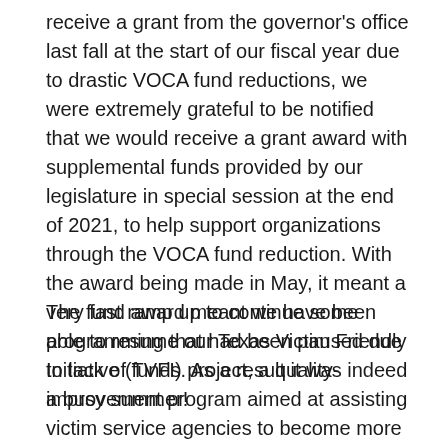receive a grant from the governor's office last fall at the start of our fiscal year due to drastic VOCA fund reductions, we were extremely grateful to be notified that we would receive a grant award with supplemental funds provided by our legislature in special session at the end of 2021, to help support organizations through the VOCA fund reduction. With the award being made in May, it meant a very fast ramp up to continue some programming that had been paused due to lack of funds. As a result it was indeed a busy summer!
The fund award meant we have been able to resume our Texas Victim Friendly Initiative (TVFI) project, a quality-improvement program aimed at assisting victim service agencies to become more trauma-informed/victim friendly in their service delivery to crime victims. We welcome nine agencies to participation in the program this year: Mission Police Department, Carrollton Police Department, Crow...